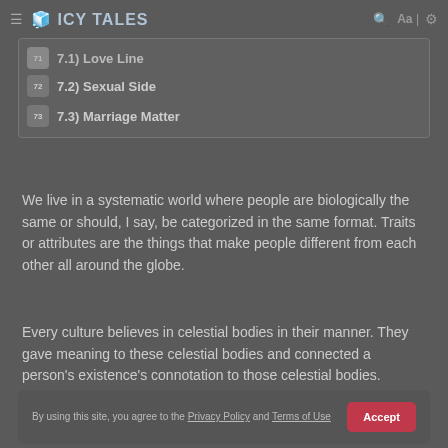ICY TALES
7.1) Love Line
7.2) Sexual Side
7.3) Marriage Matter
We live in a systematic world where people are biologically the same or should, I say, be categorized in the same format. Traits or attributes are the things that make people different from each other all around the globe.
Every culture believes in celestial bodies in their manner. They gave meaning to these celestial bodies and connected a person's existence's connotation to those celestial bodies.
By using this site, you agree to the Privacy Policy and Terms of Use